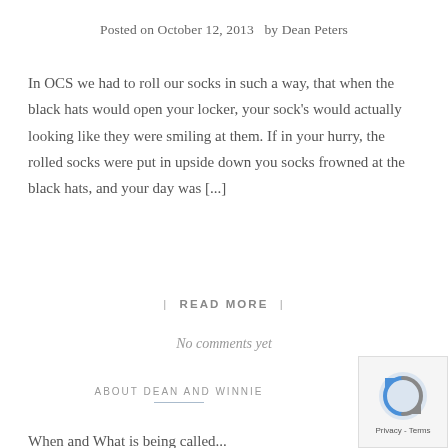Posted on October 12, 2013  by Dean Peters
In OCS we had to roll our socks in such a way, that when the black hats would open your locker, your sock's would actually looking like they were smiling at them. If in your hurry, the rolled socks were put in upside down you socks frowned at the black hats, and your day was [...]
| READ MORE |
No comments yet
ABOUT DEAN AND WINNIE
When and What is being called...